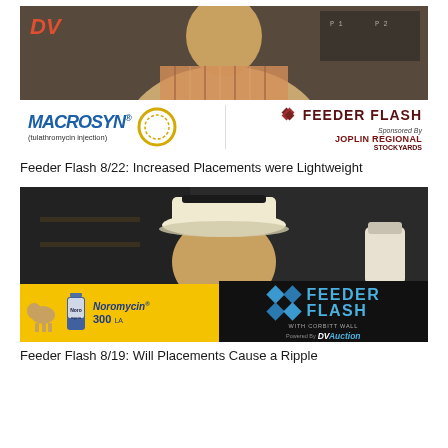[Figure (screenshot): Video thumbnail: man in plaid shirt speaking, with Macrosyn (tulathromycin injection) logo on left and Feeder Flash sponsored by Joplin Regional Stockyards logo on right. DV watermark in top left corner.]
Feeder Flash 8/22: Increased Placements were Lightweight
[Figure (screenshot): Video thumbnail: man wearing white cowboy hat speaking, with Noromycin 300 advertisement on left (yellow background) and Feeder Flash with Corbitt Wall powered by DVAuction logo on right (dark background).]
Feeder Flash 8/19: Will Placements Cause a Ripple